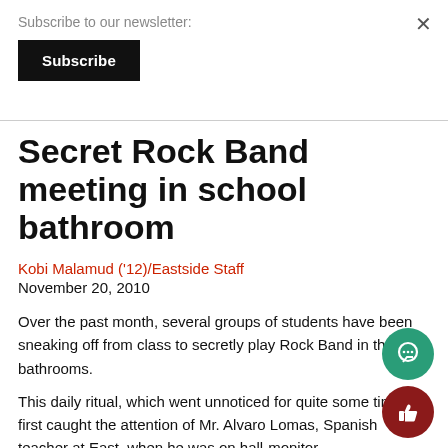Subscribe to our newsletter:
Subscribe
Secret Rock Band meeting in school bathroom
Kobi Malamud ('12)/Eastside Staff
November 20, 2010
Over the past month, several groups of students have been sneaking off from class to secretly play Rock Band in the East bathrooms.
This daily ritual, which went unnoticed for quite some time, first caught the attention of Mr. Alvaro Lomas, Spanish teacher at East, when he was on hall-monitor